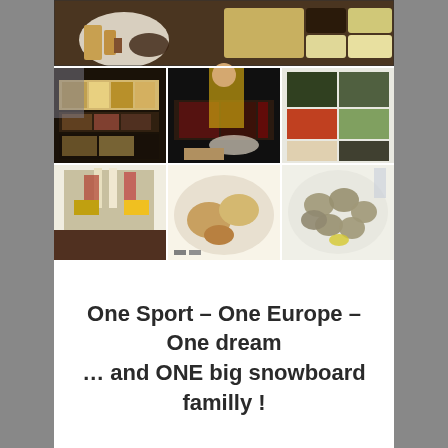[Figure (photo): Collage of 7 food photos showing buffet and restaurant meals including fries, salads, buffet trays and plated dishes]
One Sport – One Europe – One dream
… and ONE big snowboard familly !